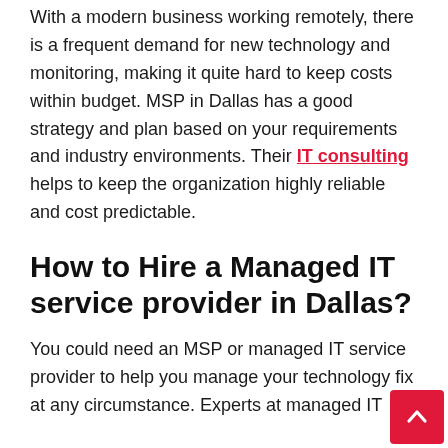With a modern business working remotely, there is a frequent demand for new technology and monitoring, making it quite hard to keep costs within budget. MSP in Dallas has a good strategy and plan based on your requirements and industry environments. Their IT consulting helps to keep the organization highly reliable and cost predictable.
How to Hire a Managed IT service provider in Dallas?
You could need an MSP or managed IT service provider to help you manage your technology fix at any circumstance. Experts at managed IT